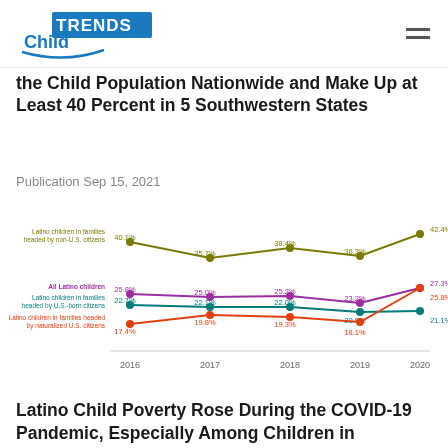Child Trends logo
the Child Population Nationwide and Make Up at Least 40 Percent in 5 Southwestern States
Publication Sep 15, 2021
[Figure (line-chart): ]
Latino Child Poverty Rose During the COVID-19 Pandemic, Especially Among Children in